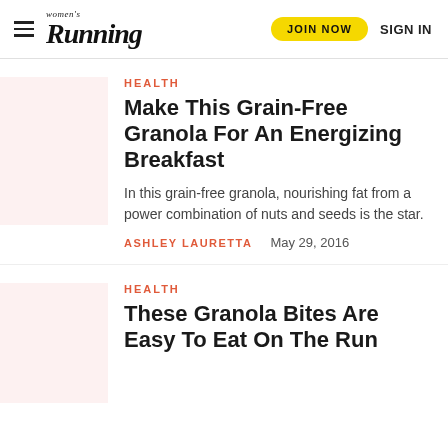women's Running — JOIN NOW  SIGN IN
HEALTH
Make This Grain-Free Granola For An Energizing Breakfast
In this grain-free granola, nourishing fat from a power combination of nuts and seeds is the star.
ASHLEY LAURETTA    May 29, 2016
HEALTH
These Granola Bites Are Easy To Eat On The Run